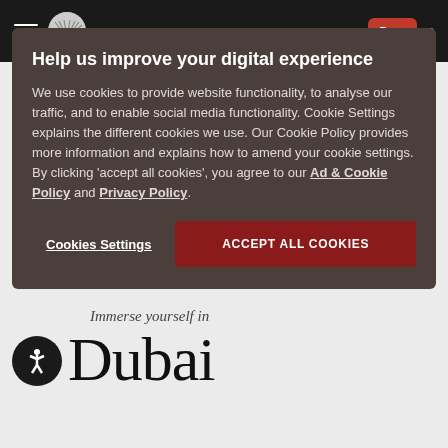[Figure (screenshot): Website navigation bar with dark background, hamburger menu, circular logo, red button, and dot]
Help us improve your digital experience
We use cookies to provide website functionality, to analyse our traffic, and to enable social media functionality. Cookie Settings explains the different cookies we use. Our Cookie Policy provides more information and explains how to amend your cookie settings. By clicking 'accept all cookies', you agree to our Ad & Cookie Policy and Privacy Policy.
Cookies Settings
ACCEPT ALL COOKIES
Immerse yourself in
Dubai